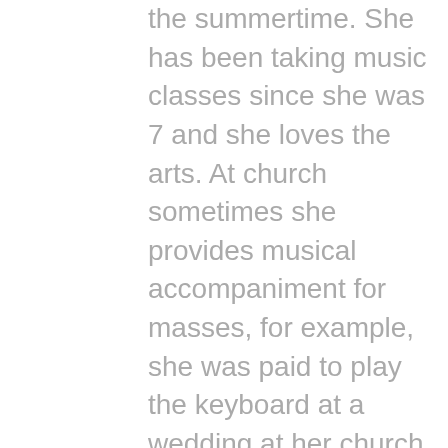the summertime. She has been taking music classes since she was 7 and she loves the arts. At church sometimes she provides musical accompaniment for masses, for example, she was paid to play the keyboard at a wedding at her church this summer. At church, in her youth group, she helps direct the annual nativity, she has organized fundraisers that have yielded between $400 and $2000. She also help plan field trips with the adult leaders of the group and she train younger children for altar service and taking on other roles in the church such as reading lectures, collecting money, etc. She has also choreographed and performed dances at events at her church for our annual Christmas celebration and at different events